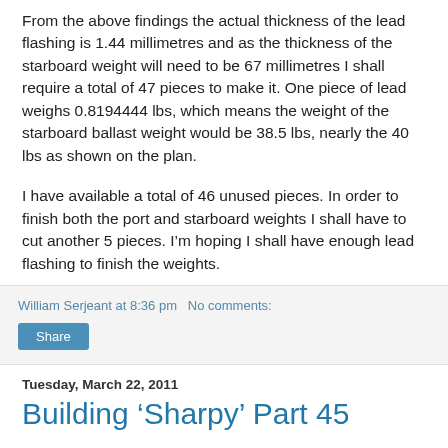From the above findings the actual thickness of the lead flashing is 1.44 millimetres and as the thickness of the starboard weight will need to be 67 millimetres I shall require a total of 47 pieces to make it. One piece of lead weighs 0.8194444 lbs, which means the weight of the starboard ballast weight would be 38.5 lbs, nearly the 40 lbs as shown on the plan.
I have available a total of 46 unused pieces. In order to finish both the port and starboard weights I shall have to cut another 5 pieces. I'm hoping I shall have enough lead flashing to finish the weights.
William Serjeant at 8:36 pm   No comments:
Share
Tuesday, March 22, 2011
Building ‘Sharpy’ Part 45